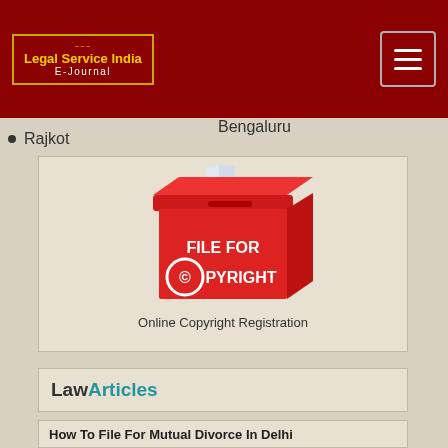Legal Service India E-Journal
Rajkot
Bengaluru
[Figure (illustration): Red box labelled FILE FOR COPYRIGHT with papers sticking out of the top, representing online copyright registration service]
Online Copyright Registration
LawArticles
How To File For Mutual Divorce In Delhi